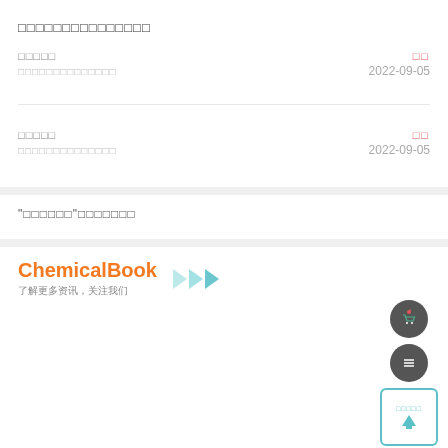□□□□□□□□□□□□□□□
□□□□□
□□□□□□□□□□□□□□  2022-09-05
□□□□□
□□□□□□□□□□□□□□  2022-09-05
"□□□□□□"□□□□□□□
ChemicalBook 了解更多资讯，关注我们